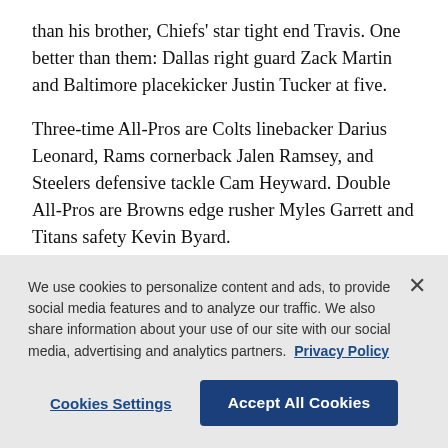than his brother, Chiefs' star tight end Travis. One better than them: Dallas right guard Zack Martin and Baltimore placekicker Justin Tucker at five.
Three-time All-Pros are Colts linebacker Darius Leonard, Rams cornerback Jalen Ramsey, and Steelers defensive tackle Cam Heyward. Double All-Pros are Browns edge rusher Myles Garrett and Titans safety Kevin Byard.
The other 14 2021 All-Pros are making their debuts.
We use cookies to personalize content and ads, to provide social media features and to analyze our traffic. We also share information about your use of our site with our social media, advertising and analytics partners.  Privacy Policy